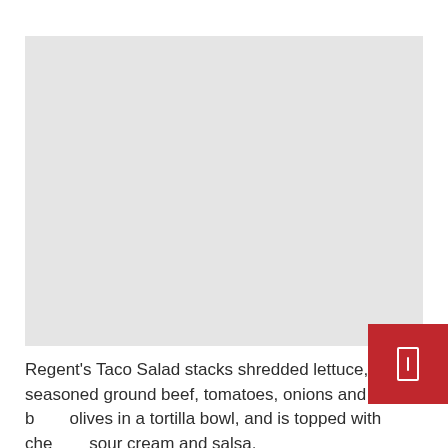[Figure (photo): Large light gray placeholder image box]
Regent's Taco Salad stacks shredded lettuce, seasoned ground beef, tomatoes, onions and b[lack] olives in a tortilla bowl, and is topped with che[ese,] sour cream and salsa.